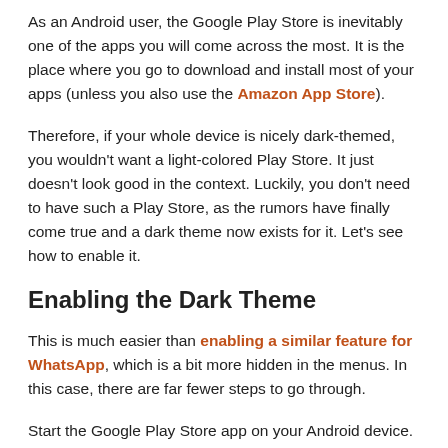As an Android user, the Google Play Store is inevitably one of the apps you will come across the most. It is the place where you go to download and install most of your apps (unless you also use the Amazon App Store).
Therefore, if your whole device is nicely dark-themed, you wouldn't want a light-colored Play Store. It just doesn't look good in the context. Luckily, you don't need to have such a Play Store, as the rumors have finally come true and a dark theme now exists for it. Let's see how to enable it.
Enabling the Dark Theme
This is much easier than enabling a similar feature for WhatsApp, which is a bit more hidden in the menus. In this case, there are far fewer steps to go through.
Start the Google Play Store app on your Android device.